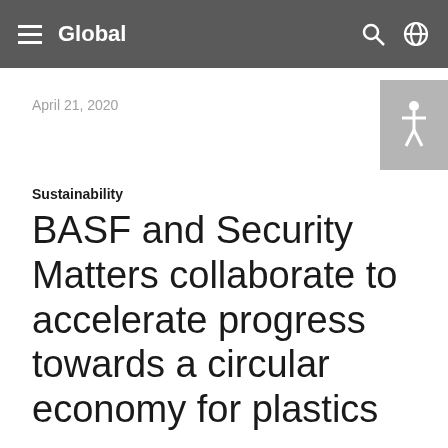Global
April 21, 2020
Sustainability
BASF and Security Matters collaborate to accelerate progress towards a circular economy for plastics